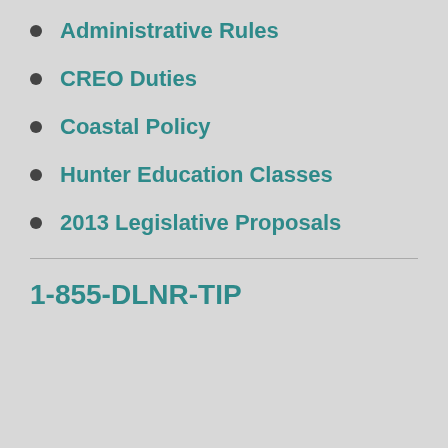Administrative Rules
CREO Duties
Coastal Policy
Hunter Education Classes
2013 Legislative Proposals
1-855-DLNR-TIP